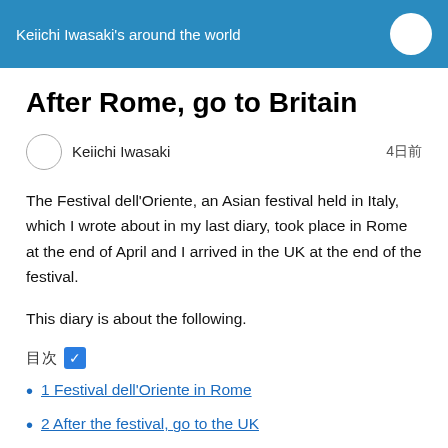Keiichi Iwasaki's around the world
After Rome, go to Britain
Keiichi Iwasaki   4日前
The Festival dell'Oriente, an Asian festival held in Italy, which I wrote about in my last diary, took place in Rome at the end of April and I arrived in the UK at the end of the festival.
This diary is about the following.
目次 ✅
1 Festival dell'Oriente in Rome
2 After the festival, go to the UK
3 Covent garden